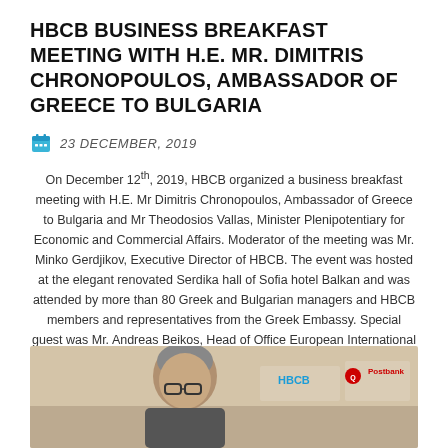HBCB BUSINESS BREAKFAST MEETING WITH H.E. MR. DIMITRIS CHRONOPOULOS, AMBASSADOR OF GREECE TO BULGARIA
23 DECEMBER, 2019
On December 12th, 2019, HBCB organized a business breakfast meeting with H.E. Mr Dimitris Chronopoulos, Ambassador of Greece to Bulgaria and Mr Theodosios Vallas, Minister Plenipotentiary for Economic and Commercial Affairs. Moderator of the meeting was Mr. Minko Gerdjikov, Executive Director of HBCB. The event was hosted at the elegant renovated Serdika hall of Sofia hotel Balkan and was attended by more than 80 Greek and Bulgarian managers and HBCB members and representatives from the Greek Embassy. Special guest was Mr. Andreas Beikos, Head of Office European International Bank Group Office for Bulgaria.
[Figure (photo): Photo of event with person wearing glasses, HBCB and Postbank logos visible in background]